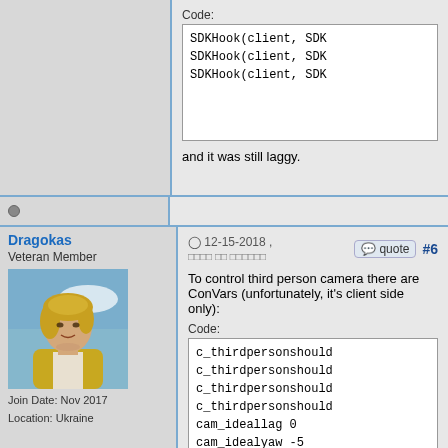Code:
SDKHook(client, SDK
SDKHook(client, SDK
SDKHook(client, SDK
and it was still laggy.
Dragokas
Veteran Member
[Figure (photo): Avatar photo of a young person with blonde hair, yellow jacket, blue sky background]
Join Date: Nov 2017
Location: Ukraine
12-15-2018 ,
#6
To control third person camera there are ConVars (unfortunately, it's client side only):
Code:
c_thirdpersonshould
c_thirdpersonshould
c_thirdpersonshould
c_thirdpersonshould
cam_ideallag 0
cam_idealyaw -5
cam_idealdist 20